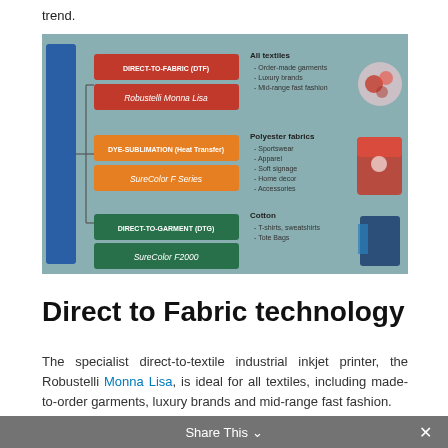trend.
[Figure (infographic): Digital Textile Technology infographic showing three branches: Direct-to-Fabric (DTF) with Robustelli Monna Lisa printer for All textiles (order-made garments, luxury brands, mid-range fast fashion); Dye-Sublimation (Heat Transfer) with SureColor F Series for Polyester fabrics (sportswear, apparel, soft signage, home decor, accessories); Direct-to-Garment (DTG) with SureColor F2000 for Cotton (T-shirts, sweatshirts, tote bags).]
Direct to Fabric technology
The specialist direct-to-textile industrial inkjet printer, the Robustelli Monna Lisa, is ideal for all textiles, including made-to-order garments, luxury brands and mid-range fast fashion.
Share This ×